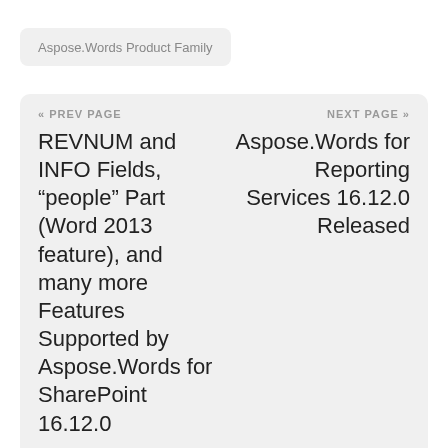Aspose.Words Product Family
« PREV PAGE
REVNUM and INFO Fields, “people” Part (Word 2013 feature), and many more Features Supported by Aspose.Words for SharePoint 16.12.0
NEXT PAGE »
Aspose.Words for Reporting Services 16.12.0 Released
[Figure (infographic): Social sharing icons row: Twitter, LinkedIn, Reddit, Facebook, WhatsApp, Telegram (black rounded square buttons), and a scroll-to-top button (gray circle with up arrow)]